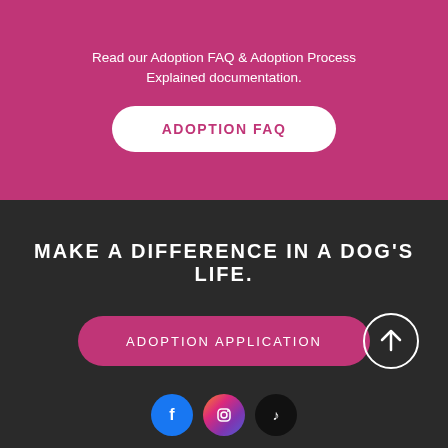Read our Adoption FAQ & Adoption Process Explained documentation.
ADOPTION FAQ
MAKE A DIFFERENCE IN A DOG'S LIFE.
ADOPTION APPLICATION